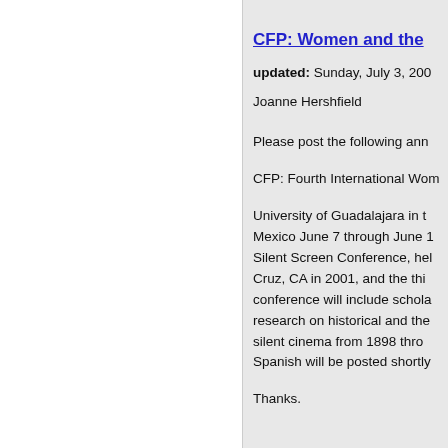CFP: Women and the
updated: Sunday, July 3, 200
Joanne Hershfield
Please post the following ann
CFP: Fourth International Wom
University of Guadalajara in t Mexico June 7 through June 1 Silent Screen Conference, hel Cruz, CA in 2001, and the thi conference will include schola research on historical and the silent cinema from 1898 thro Spanish will be posted shortly
Thanks.